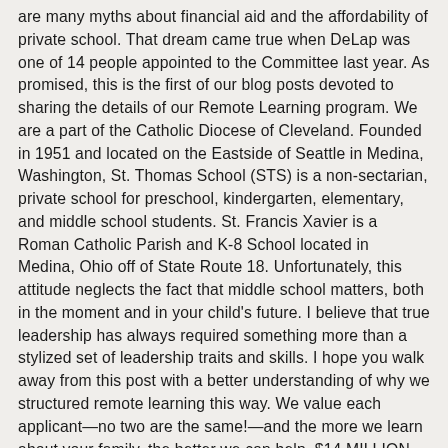are many myths about financial aid and the affordability of private school. That dream came true when DeLap was one of 14 people appointed to the Committee last year. As promised, this is the first of our blog posts devoted to sharing the details of our Remote Learning program. We are a part of the Catholic Diocese of Cleveland. Founded in 1951 and located on the Eastside of Seattle in Medina, Washington, St. Thomas School (STS) is a non-sectarian, private school for preschool, kindergarten, elementary, and middle school students. St. Francis Xavier is a Roman Catholic Parish and K-8 School located in Medina, Ohio off of State Route 18. Unfortunately, this attitude neglects the fact that middle school matters, both in the moment and in your child's future. I believe that true leadership has always required something more than a stylized set of leadership traits and skills. I hope you walk away from this post with a better understanding of why we structured remote learning this way. We value each applicant—no two are the same!—and the more we learn about your family, the better we can help. $14 MILLION, Center for Leadership & Innovation and Center for Personalized Learning, New 4th Grade Space and Commons Renovation, The construction of an 18,500-square-foot